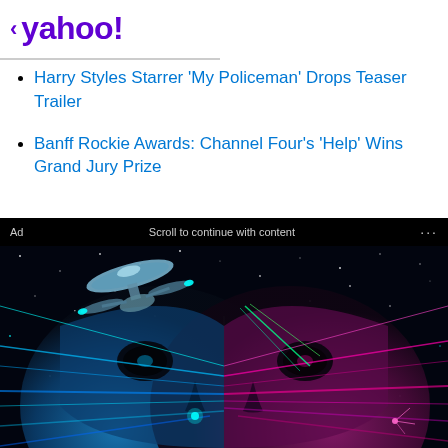< yahoo!
Harry Styles Starrer 'My Policeman' Drops Teaser Trailer
Banff Rockie Awards: Channel Four's 'Help' Wins Grand Jury Prize
[Figure (illustration): Advertisement banner showing a sci-fi/space themed illustration with a robotic or alien face split in blue and pink/magenta tones, with colorful laser beams and a spaceship (resembling the USS Enterprise from Star Trek) flying overhead against a starfield background. An 'Ad' label and 'Scroll to continue with content' message appear at the top of the ad.]